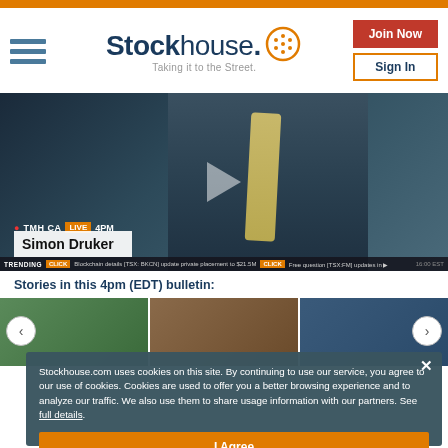[Figure (logo): Stockhouse logo with tagline 'Taking it to the Street.' and orange brain/head icon. Navigation hamburger menu on left. 'Join Now' red button and 'Sign In' orange-bordered button on right.]
[Figure (screenshot): Video screenshot showing TV news anchor Simon Druker on TMH CA LIVE 4PM broadcast with trending ticker at bottom.]
Stories in this 4pm (EDT) bulletin:
[Figure (photo): Row of three news story thumbnail images partially visible.]
Stockhouse.com uses cookies on this site. By continuing to use our service, you agree to our use of cookies. Cookies are used to offer you a better browsing experience and to analyze our traffic. We also use them to share usage information with our partners. See full details.
I Agree